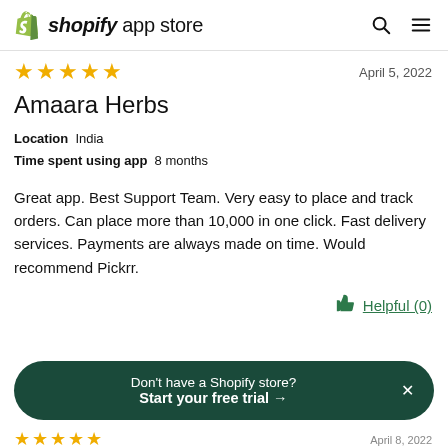shopify app store
★★★★★   April 5, 2022
Amaara Herbs
Location  India
Time spent using app  8 months
Great app. Best Support Team. Very easy to place and track orders. Can place more than 10,000 in one click. Fast delivery services. Payments are always made on time. Would recommend Pickrr.
Helpful (0)
Don't have a Shopify store? Start your free trial →